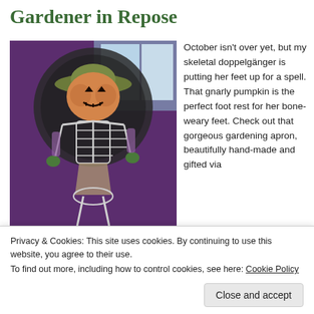Gardener in Repose
[Figure (photo): A Halloween decoration featuring a skeleton dressed as a gardener sitting in a wicker chair, with a carved jack-o-lantern pumpkin head wearing a green hat. The skeleton has a gardening apron and green gloves. Background is purple.]
October isn't over yet, but my skeletal doppelgänger is putting her feet up for a spell. That gnarly pumpkin is the perfect foot rest for her bone-weary feet. Check out that gorgeous gardening apron, beautifully hand-made and gifted via
Privacy & Cookies: This site uses cookies. By continuing to use this website, you agree to their use.
To find out more, including how to control cookies, see here: Cookie Policy
Close and accept